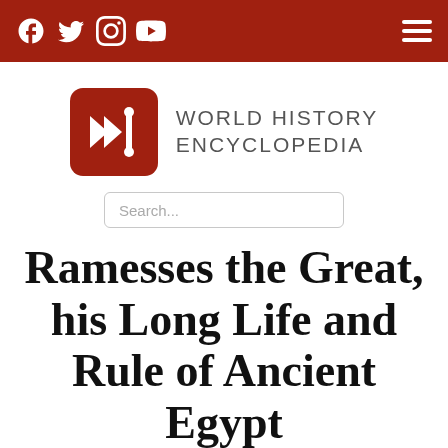World History Encyclopedia — navigation bar with social icons and hamburger menu
[Figure (logo): World History Encyclopedia logo: red rounded square with double chevron arrow and vertical line symbol in white, alongside text WORLD HISTORY ENCYCLOPEDIA]
Search...
Ramesses the Great, his Long Life and Rule of Ancient Egypt